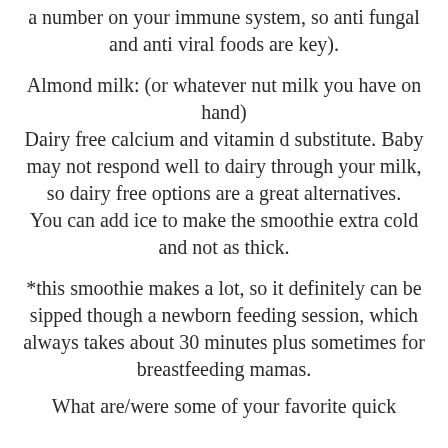a number on your immune system, so anti fungal and anti viral foods are key).
Almond milk: (or whatever nut milk you have on hand)
Dairy free calcium and vitamin d substitute. Baby may not respond well to dairy through your milk, so dairy free options are a great alternatives.
You can add ice to make the smoothie extra cold and not as thick.
*this smoothie makes a lot, so it definitely can be sipped though a newborn feeding session, which always takes about 30 minutes plus sometimes for breastfeeding mamas.
What are/were some of your favorite quick